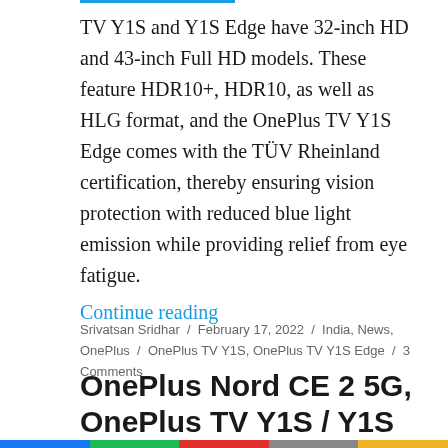TV Y1S and Y1S Edge have 32-inch HD and 43-inch Full HD models. These feature HDR10+, HDR10, as well as HLG format, and the OnePlus TV Y1S Edge comes with the TÜV Rheinland certification, thereby ensuring vision protection with reduced blue light emission while providing relief from eye fatigue.
Continue reading
Srivatsan Sridhar / February 17, 2022 / India, News, OnePlus / OnePlus TV Y1S, OnePlus TV Y1S Edge / 3 Comments
OnePlus Nord CE 2 5G, OnePlus TV Y1S / Y1S